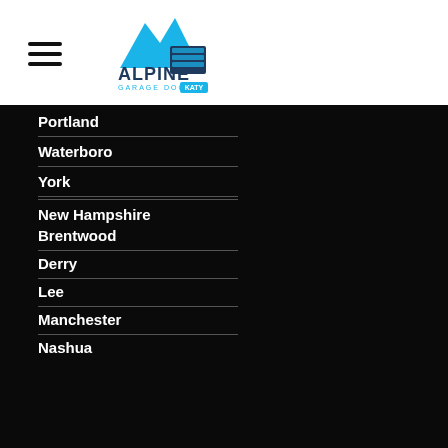[Figure (logo): Alpine Garage Doors logo with mountain peaks and garage door icon in blue, text reads ALPINE GARAGE DOORS with tagline KATY]
Portland
Waterboro
York
New Hampshire
Brentwood
Derry
Lee
Manchester
Nashua